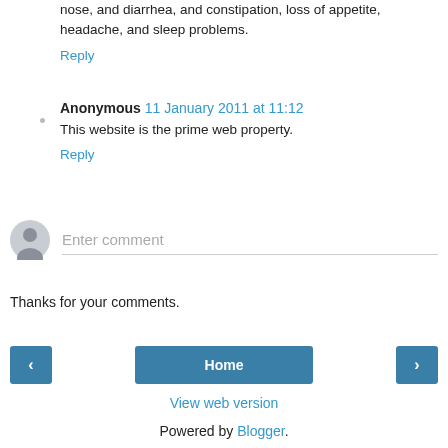nose, and diarrhea, and constipation, loss of appetite, headache, and sleep problems.
Reply
Anonymous  11 January 2011 at 11:12
This website is the prime web property.
Reply
[Figure (other): Comment input area with avatar icon and 'Enter comment' placeholder text]
Thanks for your comments.
[Figure (other): Navigation row with left arrow button, Home button, and right arrow button]
View web version
Powered by Blogger.